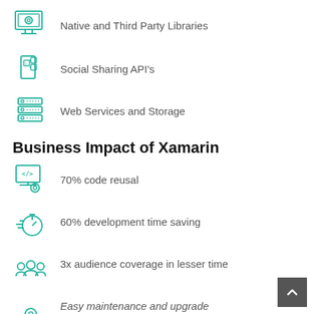Native and Third Party Libraries
Social Sharing API's
Web Services and Storage
Business Impact of Xamarin
70% code reusal
60% development time saving
3x audience coverage in lesser time
Easy maintenance and upgrade